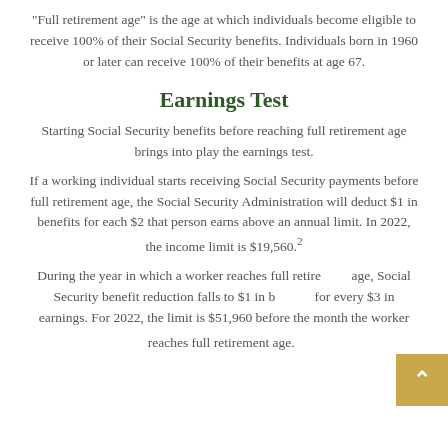"Full retirement age" is the age at which individuals become eligible to receive 100% of their Social Security benefits. Individuals born in 1960 or later can receive 100% of their benefits at age 67.
Earnings Test
Starting Social Security benefits before reaching full retirement age brings into play the earnings test.
If a working individual starts receiving Social Security payments before full retirement age, the Social Security Administration will deduct $1 in benefits for each $2 that person earns above an annual limit. In 2022, the income limit is $19,560.²
During the year in which a worker reaches full retirement age, Social Security benefit reduction falls to $1 in benefits for every $3 in earnings. For 2022, the limit is $51,960 before the month the worker reaches full retirement age.²